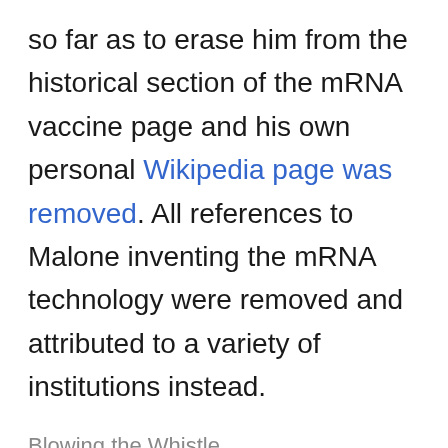so far as to erase him from the historical section of the mRNA vaccine page and his own personal Wikipedia page was removed. All references to Malone inventing the mRNA technology were removed and attributed to a variety of institutions instead.
Blowing the Whistle
Malone's public involvement with the COVID jab issue began with a short essay¹ reflecting on the bioethics of the